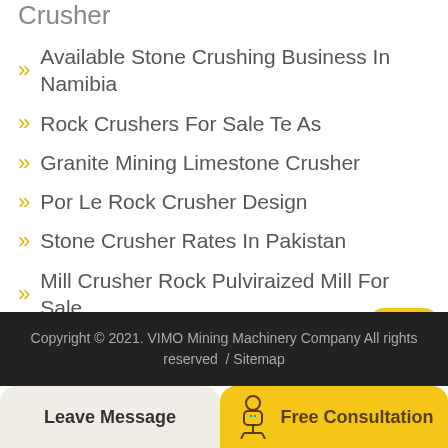Crusher
Available Stone Crushing Business In Namibia
Rock Crushers For Sale Te As
Granite Mining Limestone Crusher
Por Le Rock Crusher Design
Stone Crusher Rates In Pakistan
Mill Crusher Rock Pulviraized Mill For Sale
Melaleuca Stone Crusher Manufacturer
Portable Stone Crushers In Pakistan
Copyright © 2021. VIMO Mining Machinery Company All rights reserved  / Sitemap
Leave Message
Free Consultation